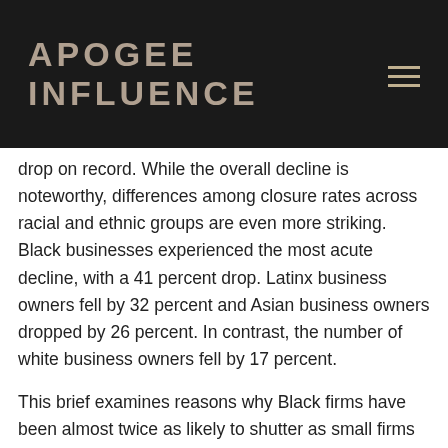APOGEE INFLUENCE
drop on record. While the overall decline is noteworthy, differences among closure rates across racial and ethnic groups are even more striking. Black businesses experienced the most acute decline, with a 41 percent drop. Latinx business owners fell by 32 percent and Asian business owners dropped by 26 percent. In contrast, the number of white business owners fell by 17 percent.
This brief examines reasons why Black firms have been almost twice as likely to shutter as small firms overall. We draw on epidemiological data on COVID-19 cases, Census data on business locations, data on the geographic reach of the Paycheck Protection Program (PPP), and data on small firms' financial health from the Federal Reserve's Small Business